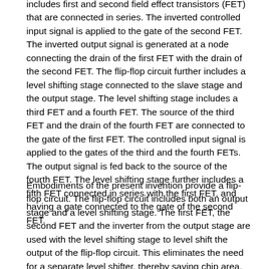includes first and second field effect transistors (FET) that are connected in series. The inverted controlled input signal is applied to the gate of the second FET. The inverted output signal is generated at a node connecting the drain of the first FET with the drain of the second FET. The flip-flop circuit further includes a level shifting stage connected to the slave stage and the output stage. The level shifting stage includes a third FET and a fourth FET. The source of the third FET and the drain of the fourth FET are connected to the gate of the first FET. The controlled input signal is applied to the gates of the third and the fourth FETs. The output signal is fed back to the source of the fourth FET. The level shifting stage further includes a fifth FET connected in series with the first FET, and having a gate connected to the gate of the second FET.
Embodiments of the present invention provide a flip-flop circuit. The flip-flop circuit includes both an output stage and a level shifting stage. The first FET, the second FET and the inverter from the output stage are used with the level shifting stage to level shift the output of the flip-flop circuit. This eliminates the need for a separate level shifter, thereby saving chip area. Further, a high voltage source is used for back-biasing the internal components